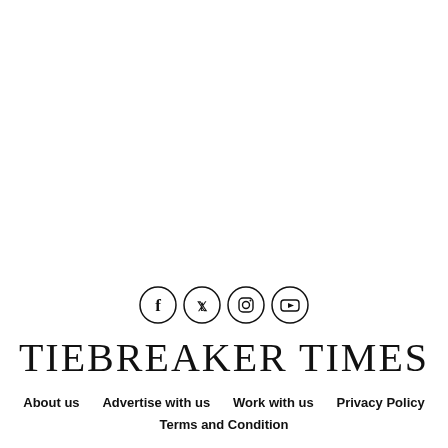[Figure (illustration): Social media icons in circles: Facebook, Twitter, Instagram, YouTube]
TIEBREAKER TIMES
About us   Advertise with us   Work with us   Privacy Policy   Terms and Condition